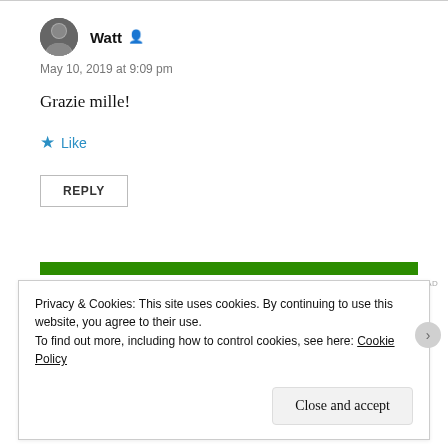Watt
May 10, 2019 at 9:09 pm
Grazie mille!
★ Like
REPLY
[Figure (other): Green horizontal ad banner bar]
REPORT THIS AD
Privacy & Cookies: This site uses cookies. By continuing to use this website, you agree to their use.
To find out more, including how to control cookies, see here: Cookie Policy
Close and accept